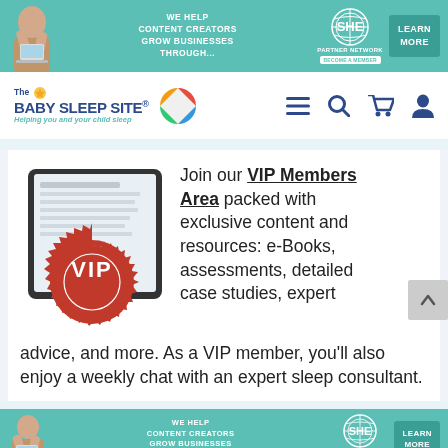[Figure (other): SHE Media Partner Network advertisement banner at top - teal background with woman photo, text 'We Help Content Creators Grow Businesses Through...' and 'Learn More' button]
The Baby Sleep Site® — Helping you and your child sleep
[Figure (illustration): Tablet device showing a document with a red VIP stamp/seal on it]
Join our VIP Members Area packed with exclusive content and resources: e-Books, assessments, detailed case studies, expert advice, and more. As a VIP member, you'll also enjoy a weekly chat with an expert sleep consultant.
[Figure (other): SHE Media Partner Network advertisement banner at bottom - teal background with woman photo, text 'We Help Content Creators Grow Businesses Through...' and 'Learn More' button]